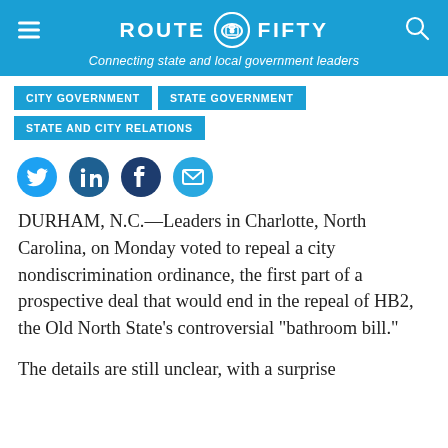ROUTE FIFTY — Connecting state and local government leaders
CITY GOVERNMENT
STATE GOVERNMENT
STATE AND CITY RELATIONS
[Figure (infographic): Social sharing icons: Twitter, LinkedIn, Facebook, Email]
DURHAM, N.C.—Leaders in Charlotte, North Carolina, on Monday voted to repeal a city nondiscrimination ordinance, the first part of a prospective deal that would end in the repeal of HB2, the Old North State's controversial “bathroom bill.”
The details are still unclear, with a surprise